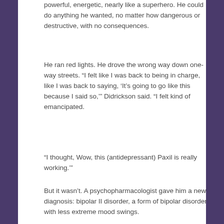powerful, energetic, nearly like a superhero. He could do anything he wanted, no matter how dangerous or destructive, with no consequences.
He ran red lights. He drove the wrong way down one-way streets. “I felt like I was back to being in charge, like I was back to saying, ‘It’s going to go like this because I said so,’” Didrickson said. “I felt kind of emancipated.
“I thought, Wow, this (antidepressant) Paxil is really working.’”
But it wasn’t. A psychopharmacologist gave him a new diagnosis: bipolar II disorder, a form of bipolar disorder with less extreme mood swings.